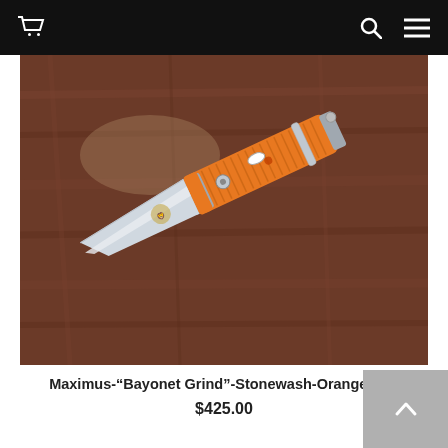Navigation bar with cart, search, and menu icons
[Figure (photo): A folding knife with an orange G10 handle and stonewash bayonet grind blade, lying open on a wooden surface]
Maximus-"Bayonet Grind"-Stonewash-Orange G10
$425.00